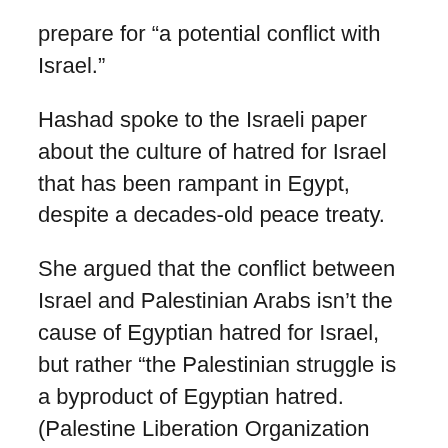prepare for “a potential conflict with Israel.”
Hashad spoke to the Israeli paper about the culture of hatred for Israel that has been rampant in Egypt, despite a decades-old peace treaty.
She argued that the conflict between Israel and Palestinian Arabs isn’t the cause of Egyptian hatred for Israel, but rather “the Palestinian struggle is a byproduct of Egyptian hatred. (Palestine Liberation Organization founder Yasser) Arafat served in the Egyptian army. The Palestine Liberation Organization was invented by Egypt during the reign of (former Egyptian President Gamal Abdel) Nasser.”